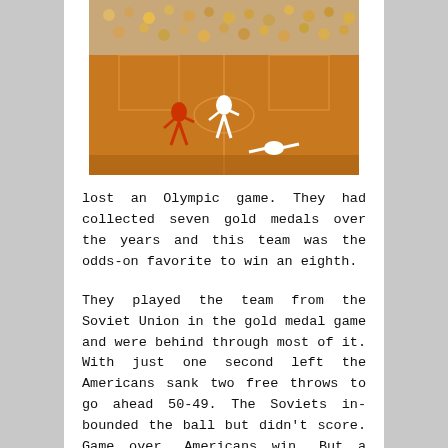[Figure (photo): Basketball game photo showing players on an indoor court with spectators in the background, appearing to be a vintage/historical Olympic basketball game.]
lost an Olympic game. They had collected seven gold medals over the years and this team was the odds-on favorite to win an eighth.
They played the team from the Soviet Union in the gold medal game and were behind through most of it. With just one second left the Americans sank two free throws to go ahead 50-49. The Soviets in-bounded the ball but didn't score. Game over, Americans win. But a judge had the clock reset to three seconds and the Soviets had another chance. Again